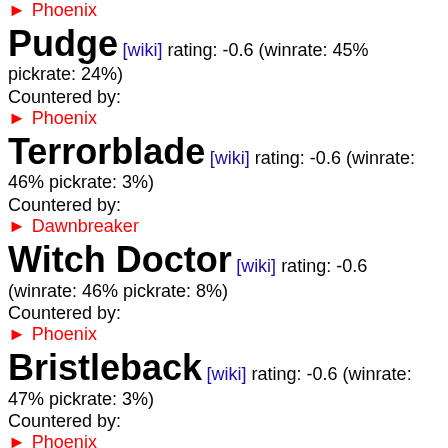▶ Phoenix
Pudge [wiki] rating: -0.6 (winrate: 45% pickrate: 24%)
Countered by:
▶ Phoenix
Terrorblade [wiki] rating: -0.6 (winrate: 46% pickrate: 3%)
Countered by:
▶ Dawnbreaker
Witch Doctor [wiki] rating: -0.6 (winrate: 46% pickrate: 8%)
Countered by:
▶ Phoenix
Bristleback [wiki] rating: -0.6 (winrate: 47% pickrate: 3%)
Countered by:
▶ Phoenix
Shadow Fiend [wiki] rating: -0.6 (winrate: 48%